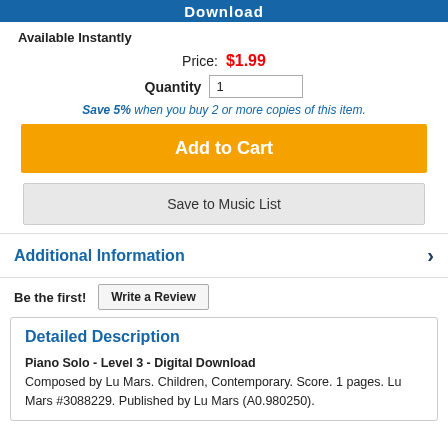[Figure (screenshot): Blue download button banner at top of page]
Available Instantly
Price: $1.99
Quantity 1
Save 5% when you buy 2 or more copies of this item.
Add to Cart
Save to Music List
Additional Information
Be the first!
Write a Review
Detailed Description
Piano Solo - Level 3 - Digital Download
Composed by Lu Mars. Children, Contemporary. Score. 1 pages. Lu Mars #3088229. Published by Lu Mars (A0.980250).